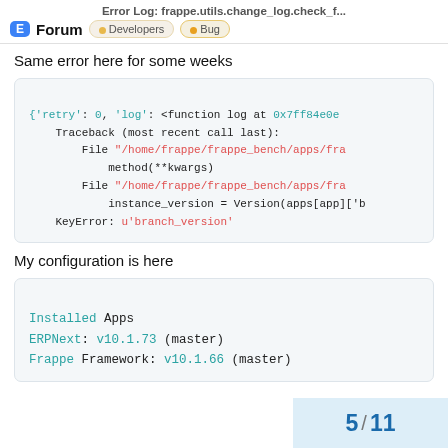Error Log: frappe.utils.change_log.check_f...
Forum  •Developers  •Bug
Same error here for some weeks
[Figure (screenshot): Code block showing Python traceback: {'retry': 0, 'log': <function log at 0x7ff84e0e... Traceback (most recent call last): File "/home/frappe/frappe_bench/apps/fra... method(**kwargs) File "/home/frappe/frappe_bench/apps/fra... instance_version = Version(apps[app]['b... KeyError: u'branch_version']
My configuration is here
[Figure (screenshot): Code block showing: Installed Apps  ERPNext: v10.1.73 (master)  Frappe Framework: v10.1.66 (master)]
5 / 11